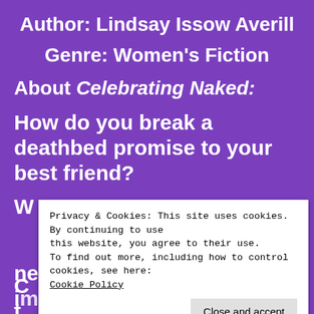Author: Lindsay Issow Averill
Genre: Women's Fiction
About Celebrating Naked:
How do you break a deathbed promise to your best friend?
[Figure (screenshot): Cookie consent popup overlay with text: 'Privacy & Cookies: This site uses cookies. By continuing to use this website, you agree to their use. To find out more, including how to control cookies, see here: Cookie Policy' and a 'Close and accept' button.]
newly widowed, and more important, the Cook already